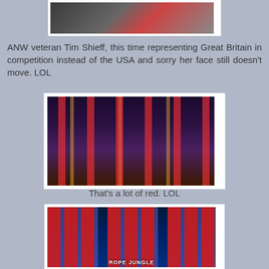[Figure (photo): Top portion of a TV show screenshot showing a person labeled 'TEAM EUROPE CAPTAIN']
ANW veteran Tim Shieff, this time representing Great Britain in competition instead of the USA and sorry her face still doesn't move. LOL
[Figure (photo): Wide shot of an illuminated obstacle course at night with red, yellow and orange lighting and fire effects, with crowd visible on the sides]
That's a lot of red. LOL
[Figure (photo): Close-up of obstacle course structure with red chevron/arrow shapes on blue-lit scaffolding, labeled 'ROPE JUNGLE' at the bottom]